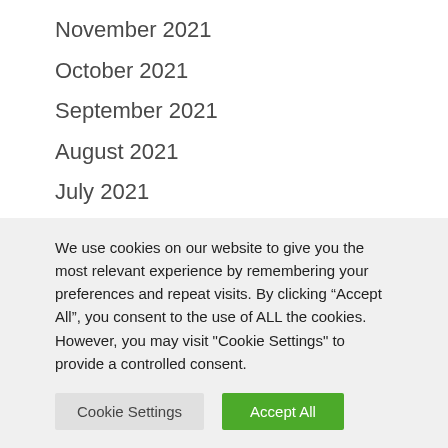November 2021
October 2021
September 2021
August 2021
July 2021
June 2021
May 2021
April 2021
February 2021
We use cookies on our website to give you the most relevant experience by remembering your preferences and repeat visits. By clicking “Accept All”, you consent to the use of ALL the cookies. However, you may visit "Cookie Settings" to provide a controlled consent.
Cookie Settings | Accept All